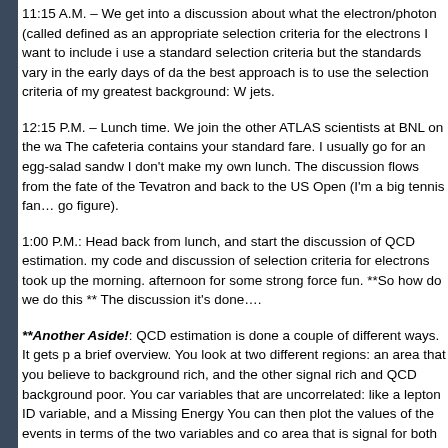11:15 A.M. – We get into a discussion about what the electron/photon (called defined as an appropriate selection criteria for the electrons I want to include i use a standard selection criteria but the standards vary in the early days of da the best approach is to use the selection criteria of my greatest background: W jets.
12:15 P.M. – Lunch time. We join the other ATLAS scientists at BNL on the wa The cafeteria contains your standard fare. I usually go for an egg-salad sandw I don't make my own lunch. The discussion flows from the fate of the Tevatron and back to the US Open (I'm a big tennis fan… go figure).
1:00 P.M.: Head back from lunch, and start the discussion of QCD estimation. my code and discussion of selection criteria for electrons took up the morning. afternoon for some strong force fun. **So how do we do this ** The discussion it's done….
**Another Aside!: QCD estimation is done a couple of different ways. It gets p a brief overview. You look at two different regions: an area that you believe to background rich, and the other signal rich and QCD background poor. You car variables that are uncorrelated: like a lepton ID variable, and a Missing Energy You can then plot the values of the events in terms of the two variables and co area that is signal for both variables, an area that passes signal cuts for one v of these), and an area that fails the signal cuts for both variables. From these can predict the amount of QCD you should get. –I'll note again, this is simplifie there.**